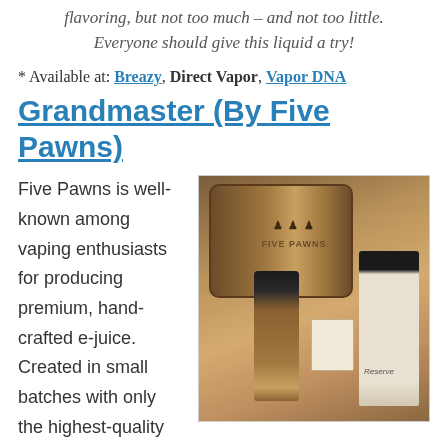flavoring, but not too much – and not too little. Everyone should give this liquid a try!
* Available at: Breazy, Direct Vapor, Vapor DNA
Grandmaster (By Five Pawns)
[Figure (photo): Photo of Five Pawns e-juice bottles and a wooden barrel in the background]
Five Pawns is well-known among vaping enthusiasts for producing premium, hand-crafted e-juice. Created in small batches with only the highest-quality ingredients, Five Pawns is definitely on the pricey-side, but it's well worth the cost! Grandmaster is one of Five Pawns most popular e-liquid flavors (along with Gambit), and it's BY FAR my favorite. Rich and creamy peanut butter on inhale, followed by subtly sweet banana and a